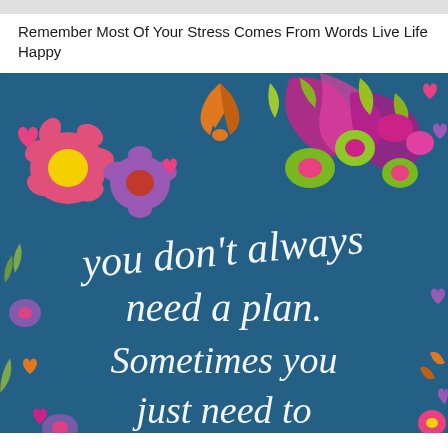Remember Most Of Your Stress Comes From Words Live Life Happy
[Figure (illustration): Colorful illustrated image on a dark teal/blue background with decorative flowers, hearts, leaves, and hand-lettered text reading: 'you don't always need a plan. Sometimes you just need to breathe...' in white handwritten-style script, surrounded by pink, purple, orange, yellow-green floral and botanical decorations.]